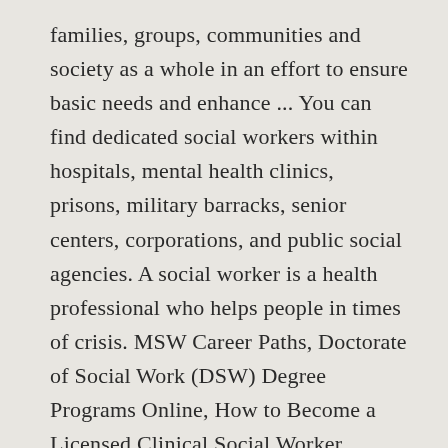families, groups, communities and society as a whole in an effort to ensure basic needs and enhance ... You can find dedicated social workers within hospitals, mental health clinics, prisons, military barracks, senior centers, corporations, and public social agencies. A social worker is a health professional who helps people in times of crisis. MSW Career Paths, Doctorate of Social Work (DSW) Degree Programs Online, How to Become a Licensed Clinical Social Worker (LCSW), Theories & Practice Models Used in Social Work, Theoretical Approaches in Social Work: Systems Theory, Jessica Holton on Working With Clients Who Are Deaf and Hard of Hearing, Carroll Davis III on Misrepresentations